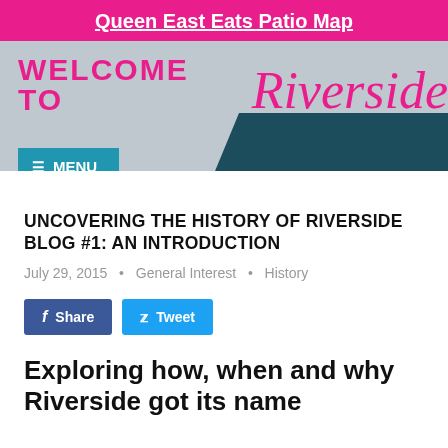Queen East Eats Patio Map
[Figure (illustration): Welcome to Riverside banner with pink and dark teal background, pink bold sans-serif text 'WELCOME TO' and pink cursive 'Riverside' on grey/teal background, with a teal MENU button overlay]
UNCOVERING THE HISTORY OF RIVERSIDE BLOG #1: AN INTRODUCTION
July 29, 2015  •  General Interest  •  History
Share  Tweet
Exploring how, when and why Riverside got its name